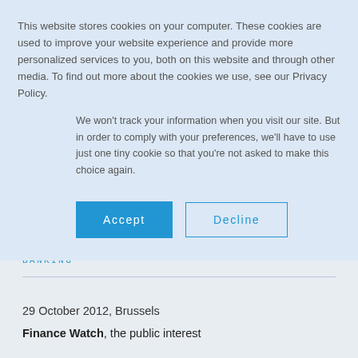This website stores cookies on your computer. These cookies are used to improve your website experience and provide more personalized services to you, both on this website and through other media. To find out more about the cookies we use, see our Privacy Policy.
We won't track your information when you visit our site. But in order to comply with your preferences, we'll have to use just one tiny cookie so that you're not asked to make this choice again.
Accept
Decline
29 October 2012
BANKING
29 October 2012, Brussels
Finance Watch, the public interest